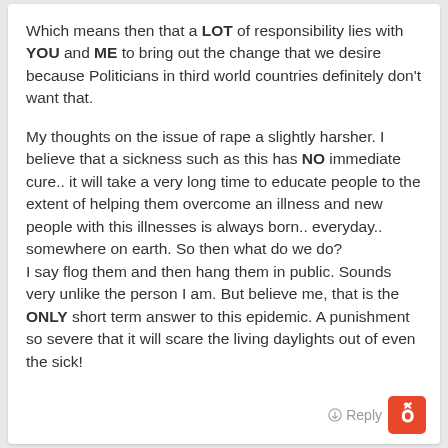Which means then that a LOT of responsibility lies with YOU and ME to bring out the change that we desire because Politicians in third world countries definitely don't want that.
My thoughts on the issue of rape a slightly harsher. I believe that a sickness such as this has NO immediate cure.. it will take a very long time to educate people to the extent of helping them overcome an illness and new people with this illnesses is always born.. everyday.. somewhere on earth. So then what do we do?
I say flog them and then hang them in public. Sounds very unlike the person I am. But believe me, that is the ONLY short term answer to this epidemic. A punishment so severe that it will scare the living daylights out of even the sick!